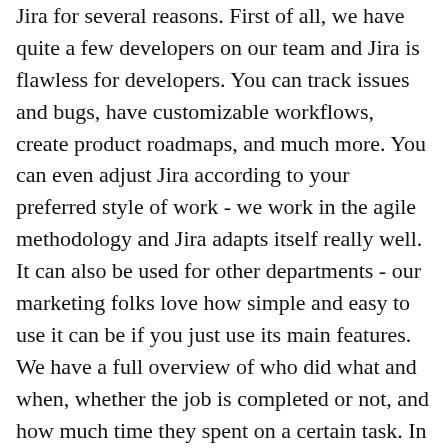Jira for several reasons. First of all, we have quite a few developers on our team and Jira is flawless for developers. You can track issues and bugs, have customizable workflows, create product roadmaps, and much more. You can even adjust Jira according to your preferred style of work - we work in the agile methodology and Jira adapts itself really well. It can also be used for other departments - our marketing folks love how simple and easy to use it can be if you just use its main features. We have a full overview of who did what and when, whether the job is completed or not, and how much time they spent on a certain task. In other words, all it takes to know if a remote team is doing its job is to sign into Jira.